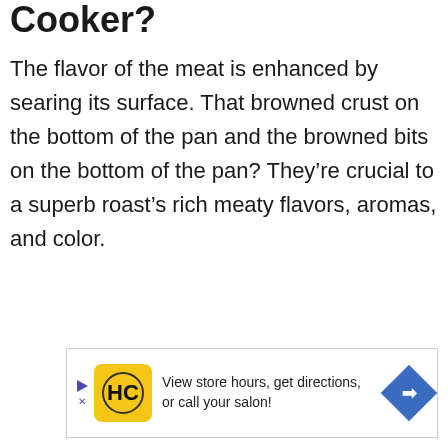Cooker?
The flavor of the meat is enhanced by searing its surface. That browned crust on the bottom of the pan and the browned bits on the bottom of the pan? They’re crucial to a superb roast’s rich meaty flavors, aromas, and color.
[Figure (other): Advertisement banner: HC logo on yellow background with text 'View store hours, get directions, or call your salon!' and a blue diamond arrow icon]